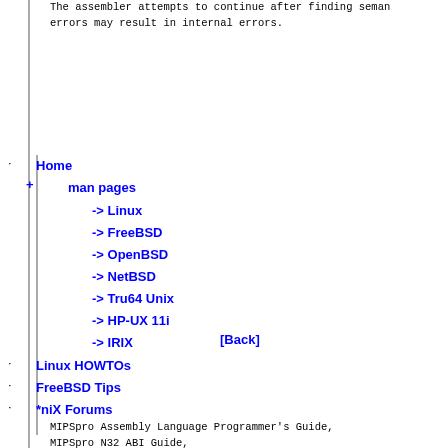The assembler attempts to continue after finding seman... errors may result in internal errors.
Home
+ man pages
-> Linux
-> FreeBSD
-> OpenBSD
-> NetBSD
-> Tru64 Unix
-> HP-UX 11i
-> IRIX   [Back]
Linux HOWTOs
FreeBSD Tips
*niX Forums
MIPSpro Assembly Language Programmer's Guide,
MIPSpro N32 ABI Guide,
MIPSpro 64-bit Porting and Transition Guide,
cc(1), what(1), getabi(3c)
DIAGNOSTICS   [Toc]   [Back]
The diagnostics produced by the assembler are intended